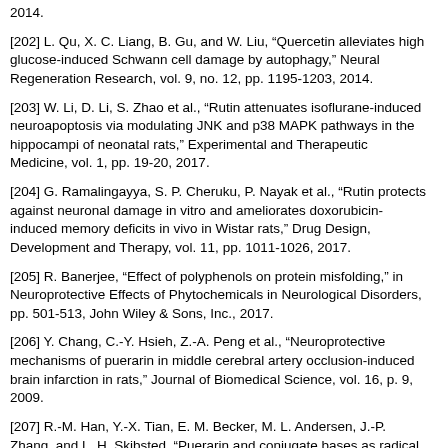2014.
[202] L. Qu, X. C. Liang, B. Gu, and W. Liu, "Quercetin alleviates high glucose-induced Schwann cell damage by autophagy," Neural Regeneration Research, vol. 9, no. 12, pp. 1195-1203, 2014.
[203] W. Li, D. Li, S. Zhao et al., "Rutin attenuates isoflurane-induced neuroapoptosis via modulating JNK and p38 MAPK pathways in the hippocampi of neonatal rats," Experimental and Therapeutic Medicine, vol. 1, pp. 19-20, 2017.
[204] G. Ramalingayya, S. P. Cheruku, P. Nayak et al., "Rutin protects against neuronal damage in vitro and ameliorates doxorubicin-induced memory deficits in vivo in Wistar rats," Drug Design, Development and Therapy, vol. 11, pp. 1011-1026, 2017.
[205] R. Banerjee, "Effect of polyphenols on protein misfolding," in Neuroprotective Effects of Phytochemicals in Neurological Disorders, pp. 501-513, John Wiley & Sons, Inc., 2017.
[206] Y. Chang, C.-Y. Hsieh, Z.-A. Peng et al., "Neuroprotective mechanisms of puerarin in middle cerebral artery occlusion-induced brain infarction in rats," Journal of Biomedical Science, vol. 16, p. 9, 2009.
[207] R.-M. Han, Y.-X. Tian, E. M. Becker, M. L. Andersen, J.-P. Zhang, and L. H. Skibsted, "Puerarin and conjugate bases as radical scavengers and antioxidants: Molecular mechanism and synergism with [beta]-carotene," Journal of Agricultural and Food Chemistry, vol. 55, no. 6, pp. 2384-2391, 2007.